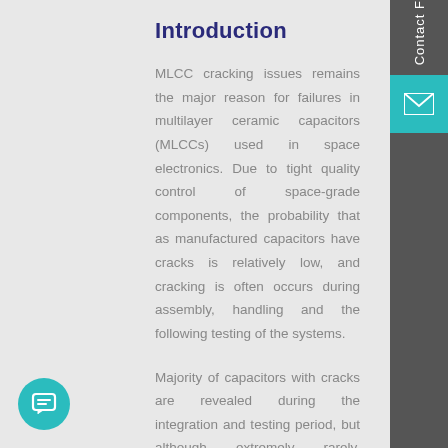Introduction
MLCC cracking issues remains the major reason for failures in multilayer ceramic capacitors (MLCCs) used in space electronics. Due to tight quality control of space-grade components, the probability that as manufactured capacitors have cracks is relatively low, and cracking is often occurs during assembly, handling and the following testing of the systems.
Majority of capacitors with cracks are revealed during the integration and testing period, but although extremely rarely, defective parts remain undetected and result in failures during the mission. Manual soldering and rework that are often used